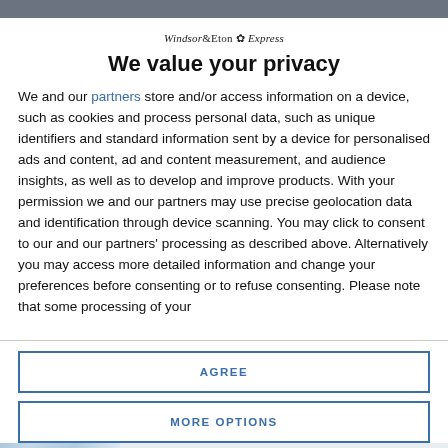Windsor & Eton Express
We value your privacy
We and our partners store and/or access information on a device, such as cookies and process personal data, such as unique identifiers and standard information sent by a device for personalised ads and content, ad and content measurement, and audience insights, as well as to develop and improve products. With your permission we and our partners may use precise geolocation data and identification through device scanning. You may click to consent to our and our partners' processing as described above. Alternatively you may access more detailed information and change your preferences before consenting or to refuse consenting. Please note that some processing of your
AGREE
MORE OPTIONS
walk-in clinic